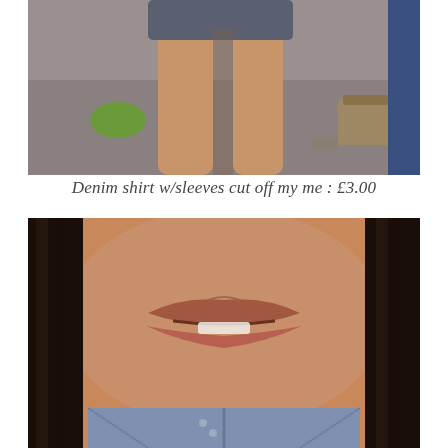[Figure (photo): Photo of a person's legs from the knees down, standing on a gray floor. A green item and a paper bag with items are visible on the floor in the background. Someone in blue jeans is partially visible on the right edge.]
Denim shirt w/sleeves cut off my me : £3.00
[Figure (photo): Close-up selfie photo of a young woman's face focused on her mouth and lips, with braided dark hair visible on both sides. She is wearing a denim jacket.]